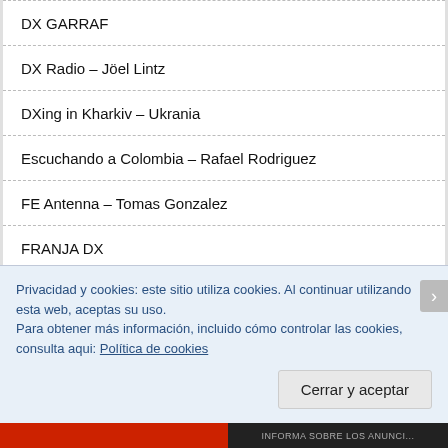DX GARRAF
DX Radio – Jöel Lintz
DXing in Kharkiv – Ukrania
Escuchando a Colombia – Rafael Rodriguez
FE Antenna – Tomas Gonzalez
FRANJA DX
Guillermo
IberiaDX
Privacidad y cookies: este sitio utiliza cookies. Al continuar utilizando esta web, aceptas su uso.
Para obtener más información, incluido cómo controlar las cookies, consulta aqui: Política de cookies
Cerrar y aceptar